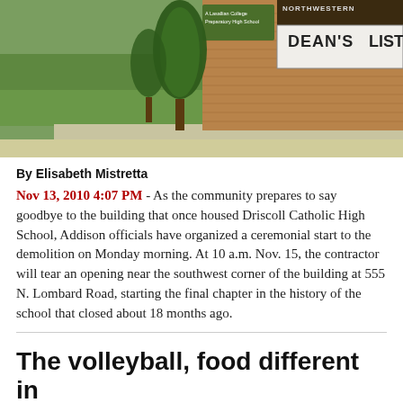[Figure (photo): Exterior photo of Driscoll Catholic High School building with sign reading Northwestern Dean's List and a Lasallian College Preparatory High School logo. Brick wall, trees, and grass visible.]
By Elisabeth Mistretta
Nov 13, 2010 4:07 PM - As the community prepares to say goodbye to the building that once housed Driscoll Catholic High School, Addison officials have organized a ceremonial start to the demolition on Monday morning. At 10 a.m. Nov. 15, the contractor will tear an opening near the southwest corner of the building at 555 N. Lombard Road, starting the final chapter in the history of the school that closed about 18 months ago.
The volleyball, food different in